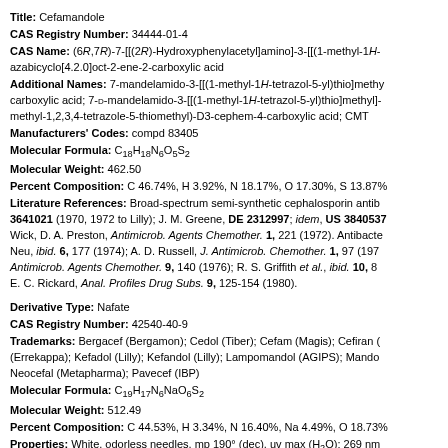Title: Cefamandole
CAS Registry Number: 34444-01-4
CAS Name: (6R,7R)-7-[[(2R)-Hydroxyphenylacetyl]amino]-3-[[(1-methyl-1H-azabicyclo[4.2.0]oct-2-ene-2-carboxylic acid
Additional Names: 7-mandelamido-3-[[(1-methyl-1H-tetrazol-5-yl)thio]methyl]- carboxylic acid; 7-D-mandelamido-3-[[(1-methyl-1H-tetrazol-5-yl)thio]methyl]- methyl-1,2,3,4-tetrazole-5-thiomethyl)-D3-cephem-4-carboxylic acid; CMT
Manufacturers' Codes: compd 83405
Molecular Formula: C18H18N6O5S2
Molecular Weight: 462.50
Percent Composition: C 46.74%, H 3.92%, N 18.17%, O 17.30%, S 13.87%
Literature References: Broad-spectrum semi-synthetic cephalosporin antibiotic. 3641021 (1970, 1972 to Lilly); J. M. Greene, DE 2312997; idem, US 3840537 Wick, D. A. Preston, Antimicrob. Agents Chemother. 1, 221 (1972). Antibacterial: Neu, ibid. 6, 177 (1974); A. D. Russell, J. Antimicrob. Chemother. 1, 97 (1975). Antimicrob. Agents Chemother. 9, 140 (1976); R. S. Griffith et al., ibid. 10, 81 E. C. Rickard, Anal. Profiles Drug Subs. 9, 125-154 (1980).
Derivative Type: Nafate
CAS Registry Number: 42540-40-9
Trademarks: Bergacef (Bergamon); Cedol (Tiber); Cefam (Magis); Cefiran (Errekappa); Kefadol (Lilly); Kefandol (Lilly); Lampomandol (AGIPS); Mandol; Neocefal (Metapharma); Pavecef (IBP)
Molecular Formula: C19H17N6NaO6S2
Molecular Weight: 512.49
Percent Composition: C 44.53%, H 3.34%, N 16.40%, Na 4.49%, O 18.73%
Properties: White, odorless needles, mp 190° (dec). uv max (H2O): 269 nm